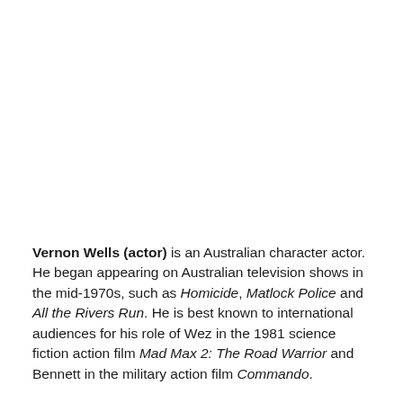Vernon Wells (actor) is an Australian character actor. He began appearing on Australian television shows in the mid-1970s, such as Homicide, Matlock Police and All the Rivers Run. He is best known to international audiences for his role of Wez in the 1981 science fiction action film Mad Max 2: The Road Warrior and Bennett in the military action film Commando.